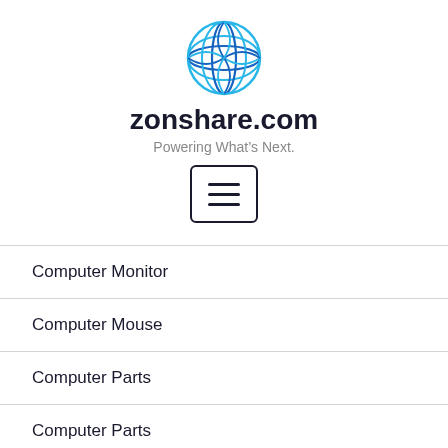[Figure (logo): Zonshare.com globe logo — blue and cyan interlocking curved lines forming a sphere]
zonshare.com
Powering What's Next.
[Figure (other): Hamburger menu button — three horizontal lines inside a rounded rectangle border]
Computer Monitor
Computer Mouse
Computer Parts
Computer Parts
Computer Software
Computer Tower